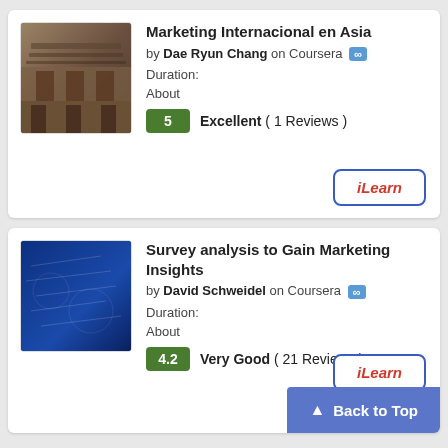[Figure (photo): Thumbnail image of an Asian building facade for Marketing Internacional en Asia course]
Marketing Internacional en Asia
by Dae Ryun Chang on Coursera ∞
Duration:
About
5  Excellent ( 1 Reviews )
iLearn
[Figure (photo): Thumbnail image with dark blue background for Survey analysis course]
Survey analysis to Gain Marketing Insights
by David Schweidel on Coursera ∞
Duration:
About
4.2  Very Good ( 21 Reviews )
Back to Top